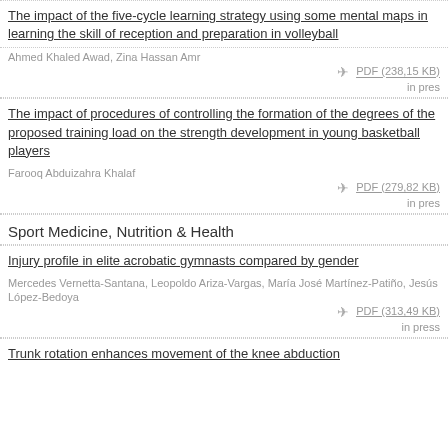The impact of the five-cycle learning strategy using some mental maps in learning the skill of reception and preparation in volleyball
Ahmed Khaled Awad, Zina Hassan Amr
PDF (238,15 KB)
in pres
The impact of procedures of controlling the formation of the degrees of the proposed training load on the strength development in young basketball players
Farooq Abduizahra Khalaf
PDF (279,82 KB)
in pres
Sport Medicine, Nutrition & Health
Injury profile in elite acrobatic gymnasts compared by gender
Mercedes Vernetta-Santana, Leopoldo Ariza-Vargas, María José Martínez-Patiño, Jesús López-Bedoya
PDF (313,49 KB)
in press
Trunk rotation enhances movement of the knee abduction